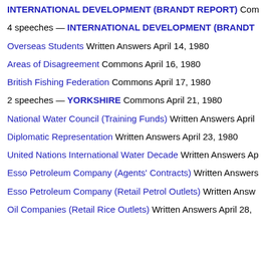INTERNATIONAL DEVELOPMENT (BRANDT REPORT) Com…
4 speeches — INTERNATIONAL DEVELOPMENT (BRANDT…
Overseas Students Written Answers April 14, 1980
Areas of Disagreement Commons April 16, 1980
British Fishing Federation Commons April 17, 1980
2 speeches — YORKSHIRE Commons April 21, 1980
National Water Council (Training Funds) Written Answers Apri…
Diplomatic Representation Written Answers April 23, 1980
United Nations International Water Decade Written Answers Ap…
Esso Petroleum Company (Agents' Contracts) Written Answers…
Esso Petroleum Company (Retail Petrol Outlets) Written Answ…
Oil Companies (Retail Rice Outlets) Written Answers April 28,…